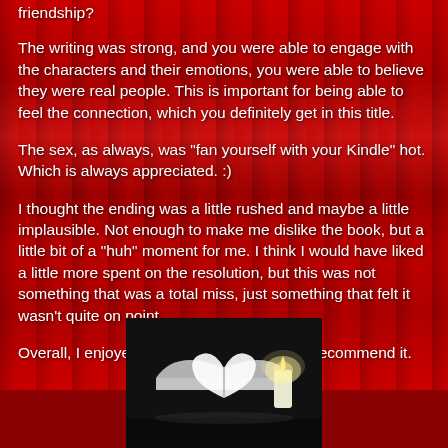friendship?
The writing was strong, and you were able to engage with the characters and their emotions, you were able to believe they were real people. This is important for being able to feel the connection, which you definitely get in this title.
The sex, as always, was "fan yourself with your Kindle" hot. Which is always appreciated. :)
I thought the ending was a little rushed and maybe a little implausible. Not enough to make me dislike the book, but a little bit of a "huh" moment for me. I think I would have liked a little more spent on the resolution, but this was not something that was a total miss, just something that felt it wasn't quite on point.
Overall, I enjoyed this book and I definitely recommend it.
[Figure (photo): Black and white photo of an open book with pages formed into a heart shape, with a lit candle beside it, on a dark background.]